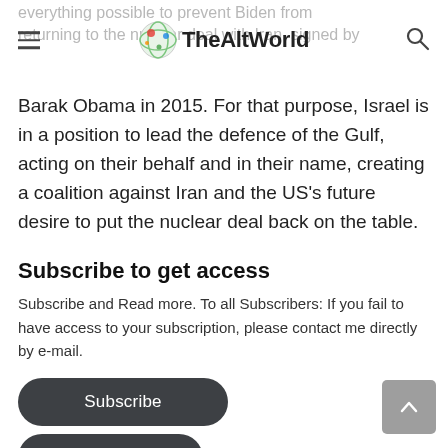TheAltWorld
everything possible to prevent Biden from returning to the nuclear deal with Iran, signed by
Barak Obama in 2015. For that purpose, Israel is in a position to lead the defence of the Gulf, acting on their behalf and in their name, creating a coalition against Iran and the US's future desire to put the nuclear deal back on the table.
Subscribe to get access
Subscribe and Read more. To all Subscribers: If you fail to have access to your subscription, please contact me directly by e-mail.
Subscribe
LOG IN